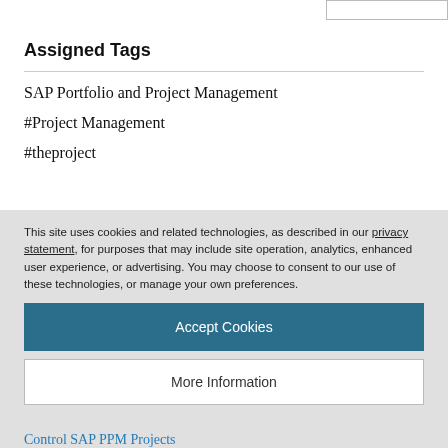Assigned Tags
SAP Portfolio and Project Management
#Project Management
#theproject
This site uses cookies and related technologies, as described in our privacy statement, for purposes that may include site operation, analytics, enhanced user experience, or advertising. You may choose to consent to our use of these technologies, or manage your own preferences.
Accept Cookies
More Information
Privacy Policy | Powered by: TrustArc
Control SAP PPM Projects